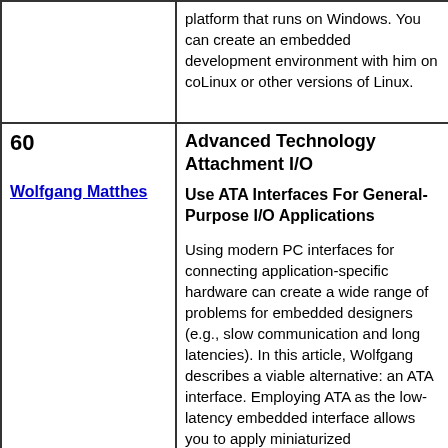|  | platform that runs on Windows. You can create an embedded development environment with him on coLinux or other versions of Linux. |
| 60

Wolfgang Matthes | Advanced Technology Attachment I/O

Use ATA Interfaces For General-Purpose I/O Applications

Using modern PC interfaces for connecting application-specific hardware can create a wide range of problems for embedded designers (e.g., slow communication and long latencies). In this article, Wolfgang describes a viable alternative: an ATA interface. Employing ATA as the low-latency embedded interface allows you to apply miniaturized motherboards instead of typical industrial platforms, which are considerably more expensive. |